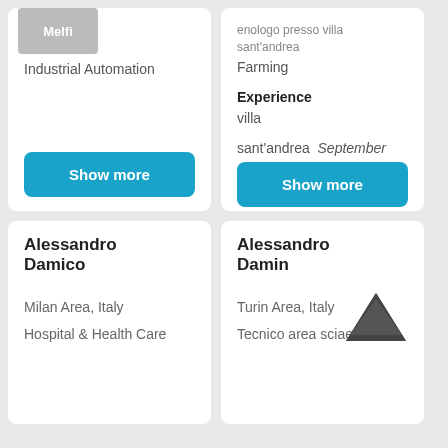operaio presso S.A.N.A. Melfi
Industrial Automation
Show more
enologo presso villa sant'andrea
Farming
Experience
villa
sant'andrea  September
Show more
Alessandro Damico
Milan Area, Italy
Hospital & Health Care
Alessandro Damin
Turin Area, Italy
Tecnico area sciaentifica